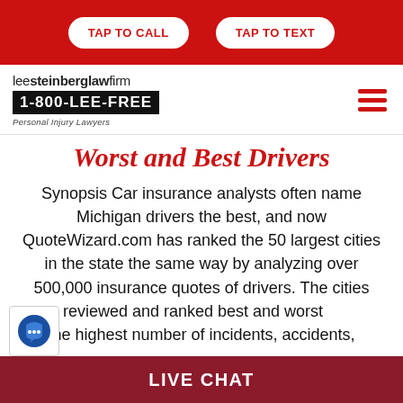TAP TO CALL | TAP TO TEXT
[Figure (logo): Lee Steinberg Law Firm logo with 1-800-LEE-FREE phone number and Personal Injury Lawyers tagline]
Worst and Best Drivers
Synopsis Car insurance analysts often name Michigan drivers the best, and now QuoteWizard.com has ranked the 50 largest cities in the state the same way by analyzing over 500,000 insurance quotes of drivers. The cities were reviewed and ranked best and worst the highest number of incidents, accidents,
LIVE CHAT